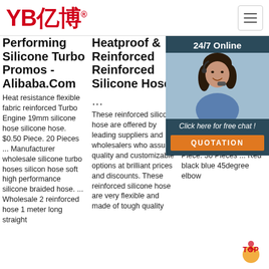YB亿博 logo and navigation
Performing Silicone Turbo Promos - Alibaba.Com
Heat resistance flexible fabric reinforced Turbo Engine 19mm silicone hose silicone hose. $0.50 Piece. 20 Pieces ... Manufacturer wholesale silicone turbo hoses silicon hose soft high performance silicone braided hose. ... Wholesale 2 reinforced hose 1 meter long straight
Heatproof & Reinforced Reinforced Silicone Hose
...
These reinforced silicone hose are offered by leading suppliers and wholesalers who assure quality and customizable options at brilliant prices and discounts. These reinforced silicone hose are very flexible and made of tough quality
Heatproof & Reinforced Reinforced Silicone Hose
Silicone Quality Performance Straight Aramid Hose $1.8 10 Pieces quality red automotive silicone hose 1 meter long silicone hose. US $0.98-$1.98 Piece. 30 Pieces ... Red black blue 45degree elbow
[Figure (photo): Customer service representative with headset, chat overlay with 24/7 Online text, Click here for free chat!, and QUOTATION button]
[Figure (logo): TOP badge/watermark in red/orange at bottom right]